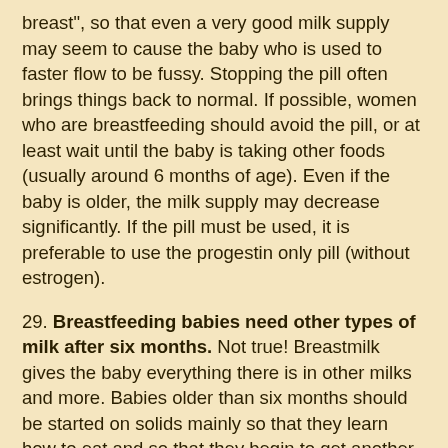breast", so that even a very good milk supply may seem to cause the baby who is used to faster flow to be fussy. Stopping the pill often brings things back to normal. If possible, women who are breastfeeding should avoid the pill, or at least wait until the baby is taking other foods (usually around 6 months of age). Even if the baby is older, the milk supply may decrease significantly. If the pill must be used, it is preferable to use the progestin only pill (without estrogen).
29. Breastfeeding babies need other types of milk after six months. Not true! Breastmilk gives the baby everything there is in other milks and more. Babies older than six months should be started on solids mainly so that they learn how to eat and so that they begin to get another source of iron, which by 7-9 months, is not supplied in sufficient quantities from breastmilk alone. Thus cow's milk or formula will not be necessary as long as the baby is breastfeeding. However, if the mother wishes to give milk after 6 months, there is no reason that the baby cannot get cow's or goat's milk, as long as the baby is still breastfeeding a few times a day, and is also getting a wide variety of solid foods in more than minimal amounts. Most babies older than six months